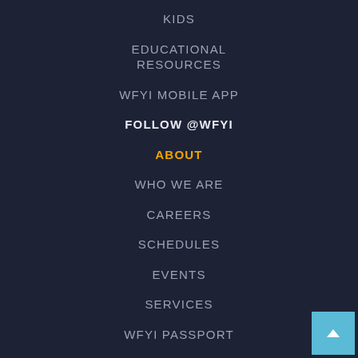KIDS
EDUCATIONAL RESOURCES
WFYI MOBILE APP
FOLLOW @WFYI
ABOUT
WHO WE ARE
CAREERS
SCHEDULES
EVENTS
SERVICES
WFYI PASSPORT
CORPORATE